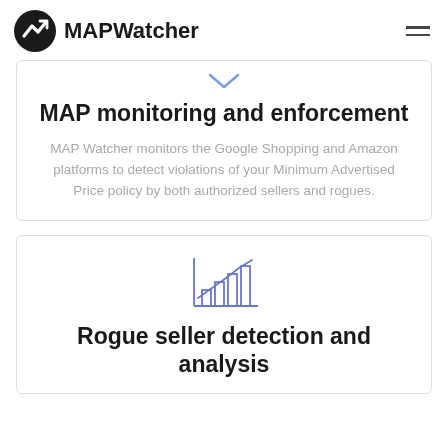MAPWatcher
[Figure (logo): MAPWatcher logo: black circle with stylized M/checkmark icon, followed by bold text MAPWatcher]
MAP monitoring and enforcement
MAP Watcher monitors the Google Shopping and Amazon platforms to detect violations of your Minimum Advertised Price policy by both authorized sellers and rogues.
[Figure (illustration): Bar chart icon with upward trend line in blue/purple outline style]
Rogue seller detection and analysis